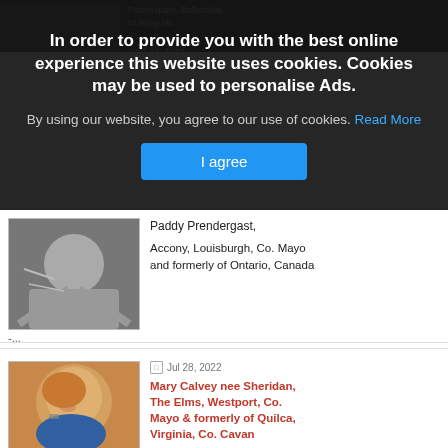[Figure (screenshot): Cookie consent overlay on a webpage. Dark semi-transparent background with white bold text: 'In order to provide you with the best online experience this website uses cookies. Cookies may be used to personalise Ads.' Below: grey text 'By using our website, you agree to our use of cookies.' with a blue 'Read More' link. Blue 'I agree' button centered below.]
Paddy Prendergast,
Accony, Louisburgh, Co. Mayo and formerly of Ontario, Canada
-...
Jul 28, 2022
Mary Calvey nee Sheridan, The Elms, Westport, Co. Mayo & formerly of Quilca, Virginia, Co. Cavan
Mary Calvey nee Sheridan
The Elms, Westport, Co. Mayo